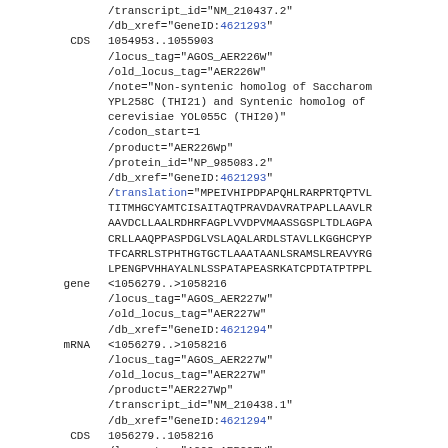/transcript_id="NM_210437.2"
/db_xref="GeneID:4621293"
CDS
1054953..1055903
/locus_tag="AGOS_AER226W"
/old_locus_tag="AER226W"
/note="Non-syntenic homolog of Saccharom YPL258C (THI21) and Syntenic homolog of cerevisiae YOL055C (THI20)"
/codon_start=1
/product="AER226Wp"
/protein_id="NP_985083.2"
/db_xref="GeneID:4621293"
/translation="MPEIVHIPDPAPQHLRARPRTQPTVL TITMHGCYAMTCISAITAQTPRAVDAVRATPAPLLAAVLR AAVDCLLAALRDHRFAGPLVVDPVMAASSGSPLTDLAGPA CRLLAAQPPASPDGLVSLAQALARDLSTAVLLKGGHCPYP TFCARRLSTPHTHGTGCTLAAATAANLSRAMSLREAVYRG LPENGPVHHAYALNLSSPATAPEASRKATCPDTATPTPPL
gene
<1056279..>1058216
/locus_tag="AGOS_AER227W"
/old_locus_tag="AER227W"
/db_xref="GeneID:4621294"
mRNA
<1056279..>1058216
/locus_tag="AGOS_AER227W"
/old_locus_tag="AER227W"
/product="AER227Wp"
/transcript_id="NM_210438.1"
/db_xref="GeneID:4621294"
CDS
1056279..1058216
/locus_tag="AGOS_AER227W"
/old_locus_tag="AER227W"
/note="Syntenic homolog of Saccharomyces YOL030C (RPN4)"